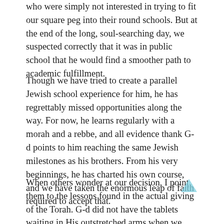who were simply not interested in trying to fit our square peg into their round schools. But at the end of the long, soul-searching day, we suspected correctly that it was in public school that he would find a smoother path to academic fulfillment.
Though we have tried to create a parallel Jewish school experience for him, he has regrettably missed opportunities along the way. For now, he learns regularly with a morah and a rebbe, and all evidence thank G-d points to him reaching the same Jewish milestones as his brothers. From his very beginnings, he has charted his own course, and we have taken the enormous leap of faith required to accept that.
When others wonder at our decision, I point them to the lessons found in the actual giving of the Torah. G-d did not have the tablets waiting in His outstretched arms when we reached the other side of